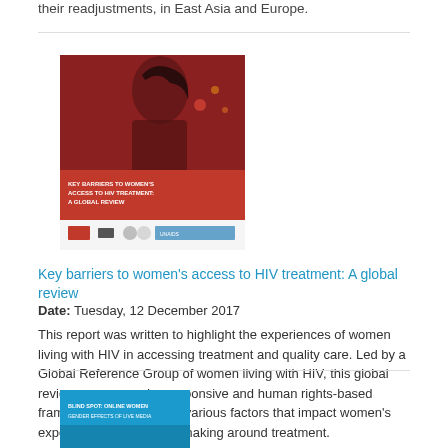their readjustments, in East Asia and Europe.
[Figure (photo): Book cover of 'Key barriers to women's access to HIV treatment: A global review' — red cover with photo of a woman and logos at bottom]
Key barriers to women's access to HIV treatment: A global review
Date: Tuesday, 12 December 2017
This report was written to highlight the experiences of women living with HIV in accessing treatment and quality care. Led by a Global Reference Group of women living with HIV, this global review uses a gender-responsive and human rights-based framework to explore the various factors that impact women's experience and decision making around treatment.
[Figure (photo): Partial view of another book cover with blue background at the bottom of the page]